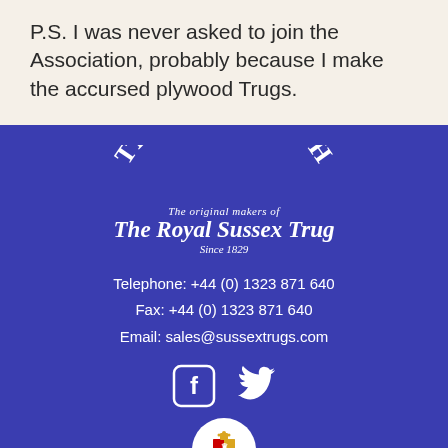P.S. I was never asked to join the Association, probably because I make the accursed plywood Trugs.
[Figure (logo): Thomas Smith The original makers of The Royal Sussex Trug Since 1829 logo in white text on blue background]
Telephone: +44 (0) 1323 871 640
Fax: +44 (0) 1323 871 640
Email: sales@sussextrugs.com
[Figure (illustration): Facebook and Twitter social media icons in white on blue background]
[Figure (logo): Royal warrant circular badge with coat of arms on white circle]
We use cookies to help improve your experience of this website. By using this website, you agree to accept cookies from this site.